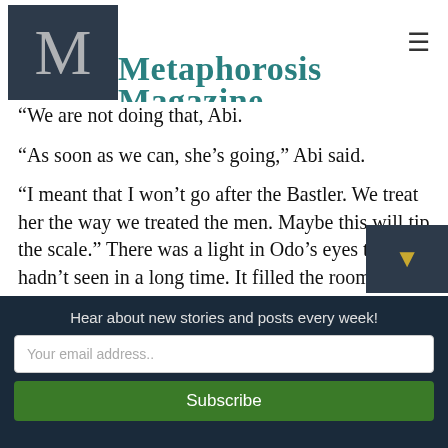Metaphorosis Magazine
“We are not doing that, Abi.
“As soon as we can, she’s going,” Abi said.
“I meant that I won’t go after the Bastler. We treat her the way we treated the men. Maybe this will tip the scale.” There was a light in Odo’s eyes that Abi hadn’t seen in a long time. It filled the room a little, and made her believe, for just a second.
“We do it right this time,” Abi said, glancing at the part of the pine illuminated out the kitchen window.
Hear about new stories and posts every week!
Your email address..
Subscribe